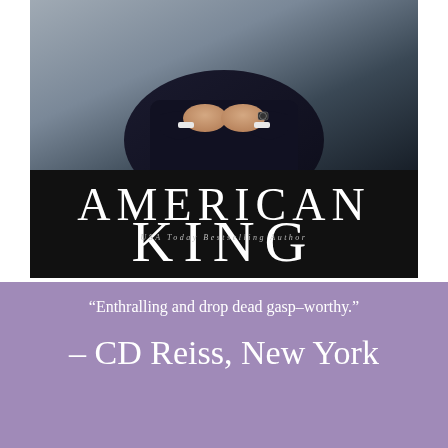[Figure (illustration): Book cover for 'American King' by Sierra Simone. A man in a dark suit sits with arms crossed, hands visible with a watch. Large white serif title text 'American King' overlaid on the image. Below the title: 'USA Today Bestselling Author' in spaced italic and 'Sierra Simone' in large serif text on black background.]
“Enthralling and drop dead gasp-worthy.”
– CD Reiss, New York